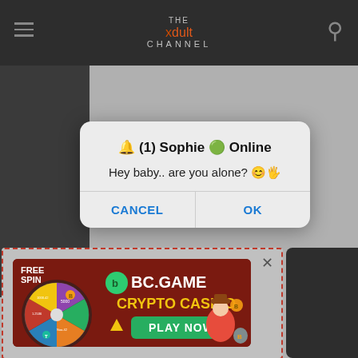[Figure (screenshot): Website header/navigation bar for 'The Xdult Channel' with hamburger menu icon on left, logo in center, and search icon on right, on dark background]
[Figure (screenshot): Mobile OS dialog/popup with title '🔔 (1) Sophie 🟢 Online', message 'Hey baby.. are you alone? 😊🖐', and two buttons: CANCEL and OK]
[Figure (screenshot): BC.GAME Crypto Casino advertisement banner with 'FREE SPIN' text, spinning wheel, 'BC.GAME CRYPTO CASINO' branding, and 'PLAY NOW' green button, outlined with red dashed border]